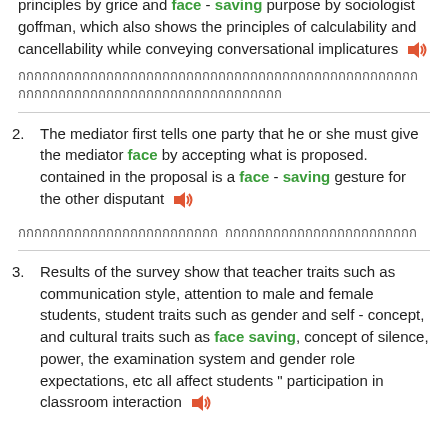principles by grice and face - saving purpose by sociologist goffman, which also shows the principles of calculability and cancellability while conveying conversational implicatures
[Thai text]
2. The mediator first tells one party that he or she must give the mediator face by accepting what is proposed. contained in the proposal is a face - saving gesture for the other disputant
[Thai text]
3. Results of the survey show that teacher traits such as communication style, attention to male and female students, student traits such as gender and self - concept, and cultural traits such as face saving, concept of silence, power, the examination system and gender role expectations, etc all affect students " participation in classroom interaction